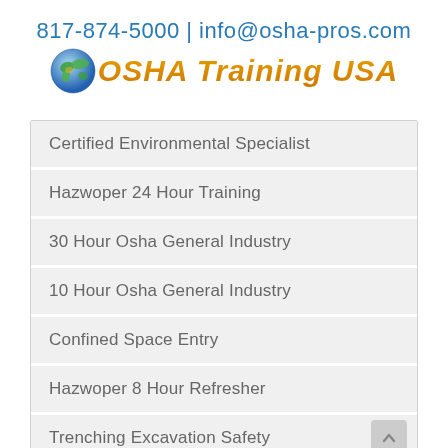817-874-5000 | info@osha-pros.com
[Figure (logo): OSHA Training USA logo with globe icon and orange italic text]
Certified Environmental Specialist
Hazwoper 24 Hour Training
30 Hour Osha General Industry
10 Hour Osha General Industry
Confined Space Entry
Hazwoper 8 Hour Refresher
Trenching Excavation Safety